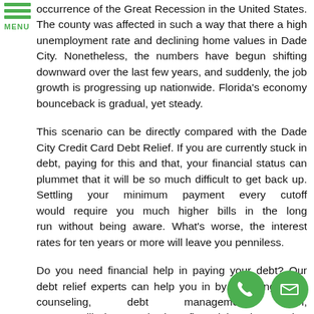MENU
occurrence of the Great Recession in the United States. The county was affected in such a way that there a high unemployment rate and declining home values in Dade City. Nonetheless, the numbers have begun shifting downward over the last few years, and suddenly, the job growth is progressing up nationwide. Florida's economy bounceback is gradual, yet steady.
This scenario can be directly compared with the Dade City Credit Card Debt Relief. If you are currently stuck in debt, paying for this and that, your financial status can plummet that it will be so much difficult to get back up. Settling your minimum payment every cutoff would require you much higher bills in the long run without being aware. What's worse, the interest rates for ten years or more will leave you penniless.
Do you need financial help in paying your debt? Our debt relief experts can help you in by providing credit counseling, debt management plan, etc. We will give you the best financial assistance that you will need.
[Figure (illustration): Green phone icon circle and green envelope icon circle at bottom right of page]